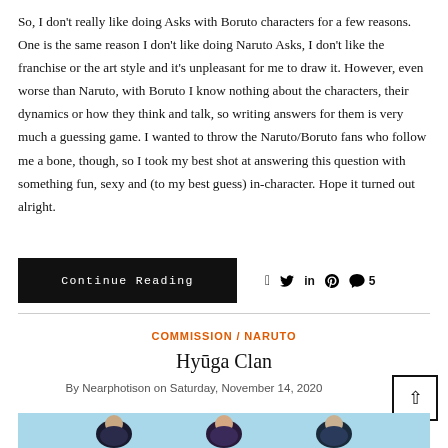So, I don't really like doing Asks with Boruto characters for a few reasons. One is the same reason I don't like doing Naruto Asks, I don't like the franchise or the art style and it's unpleasant for me to draw it. However, even worse than Naruto, with Boruto I know nothing about the characters, their dynamics or how they think and talk, so writing answers for them is very much a guessing game. I wanted to throw the Naruto/Boruto fans who follow me a bone, though, so I took my best shot at answering this question with something fun, sexy and (to my best guess) in-character. Hope it turned out alright.
Continue Reading
COMMISSION / NARUTO
Hyūga Clan
By Nearphotison on Saturday, November 14, 2020
[Figure (photo): Partial view of an image strip at the bottom of the page with a light blue background, partially showing illustrated characters]